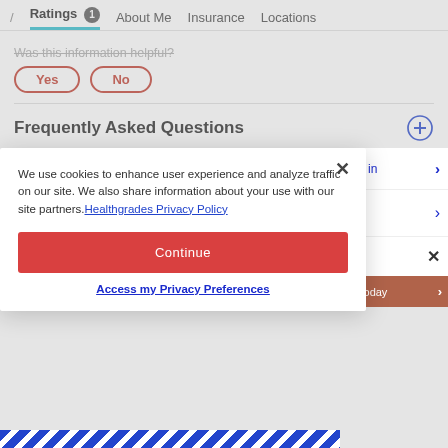/ Ratings 1  About Me  Insurance  Locations
Was this information helpful?
Yes  No
Frequently Asked Questions
Healthgrades Tips for Getting the Best Dental Care
We use cookies to enhance user experience and analyze traffic on our site. We also share information about your use with our site partners. Healthgrades Privacy Policy
Continue
Access my Privacy Preferences
ted in
rs Today